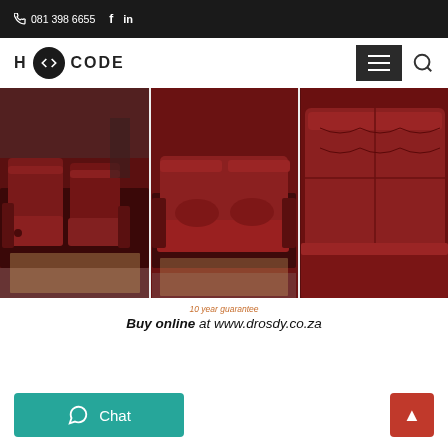081 398 6655  f  in
[Figure (logo): H</>CODE logo with circular icon containing code brackets]
[Figure (photo): Three panel image of dark red/maroon leather recliner sofa sets in a showroom. Left panel shows a full sofa set, center panel shows a loveseat, right panel shows a close-up of the armrest and cushion.]
10 year guarantee
Buy online at www.drosdy.co.za
Chat
▲